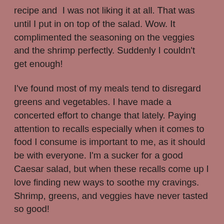recipe and  I was not liking it at all. That was until I put in on top of the salad. Wow. It complimented the seasoning on the veggies and the shrimp perfectly. Suddenly I couldn't get enough!
I've found most of my meals tend to disregard greens and vegetables. I have made a concerted effort to change that lately. Paying attention to recalls especially when it comes to food I consume is important to me, as it should be with everyone. I'm a sucker for a good Caesar salad, but when these recalls come up I love finding new ways to soothe my cravings. Shrimp, greens, and veggies have never tasted so good!
Sheet Pan Roasted Shrimp and Veggie Salad
What You Need: